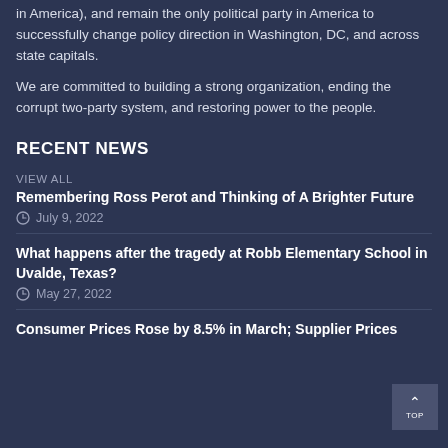in America), and remain the only political party in America to successfully change policy direction in Washington, DC, and across state capitals.
We are committed to building a strong organization, ending the corrupt two-party system, and restoring power to the people.
RECENT NEWS
VIEW ALL
Remembering Ross Perot and Thinking of A Brighter Future
July 9, 2022
What happens after the tragedy at Robb Elementary School in Uvalde, Texas?
May 27, 2022
Consumer Prices Rose by 8.5% in March; Supplier Prices